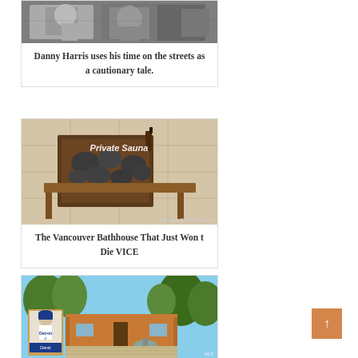[Figure (photo): Black and white photo of Danny Harris, appears to show athletes or people outdoors]
Danny Harris uses his time on the streets as a cautionary tale.
[Figure (photo): Photo of a private sauna with stones and wooden structure, watermark reads 'Heritage Steam & Sauna', text overlay 'Private Sauna']
The Vancouver Bathhouse That Just Won t Die VICE
[Figure (photo): Color photo of a house exterior with trees and courtyard, inset baseball card of a Detroit player, watermark 'MLS']